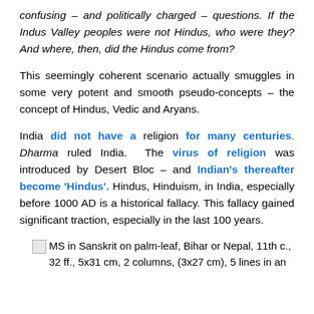confusing – and politically charged – questions. If the Indus Valley peoples were not Hindus, who were they? And where, then, did the Hindus come from?
This seemingly coherent scenario actually smuggles in some very potent and smooth pseudo-concepts – the concept of Hindus, Vedic and Aryans.
India did not have a religion for many centuries. Dharma ruled India. The virus of religion was introduced by Desert Bloc – and Indian's thereafter become 'Hindus'. Hindus, Hinduism, in India, especially before 1000 AD is a historical fallacy. This fallacy gained significant traction, especially in the last 100 years.
MS in Sanskrit on palm-leaf, Bihar or Nepal, 11th c., 32 ff., 5x31 cm, 2 columns, (3x27 cm), 5 lines in an